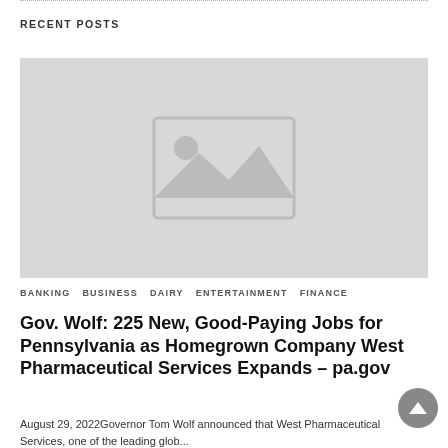RECENT POSTS
[Figure (photo): Placeholder image with landscape/mountain icon on light grey background]
BANKING  BUSINESS  DAIRY  ENTERTAINMENT  FINANCE
Gov. Wolf: 225 New, Good-Paying Jobs for Pennsylvania as Homegrown Company West Pharmaceutical Services Expands – pa.gov
August 29, 2022Governor Tom Wolf announced that West Pharmaceutical Services, one of the leading glob...